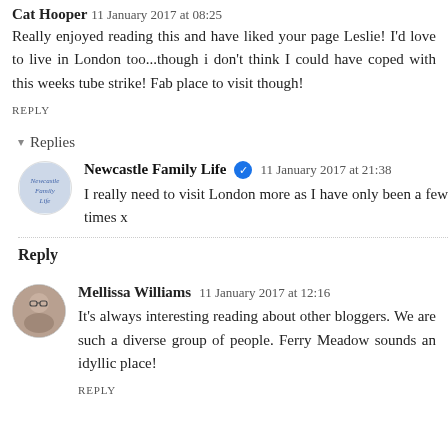Cat Hooper  11 January 2017 at 08:25
Really enjoyed reading this and have liked your page Leslie! I'd love to live in London too...though i don't think I could have coped with this weeks tube strike! Fab place to visit though!
REPLY
Replies
Newcastle Family Life  11 January 2017 at 21:38
I really need to visit London more as I have only been a few times x
Reply
Mellissa Williams  11 January 2017 at 12:16
It's always interesting reading about other bloggers. We are such a diverse group of people. Ferry Meadow sounds an idyllic place!
REPLY